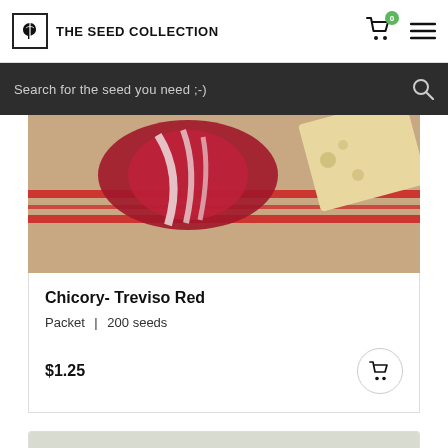THE SEED COLLECTION
Search for the seed you need  ;-)
[Figure (photo): Photo of Chicory Treviso Red vegetable on a striped cloth with cheese]
Chicory- Treviso Red
Packet | 200 seeds
$1.25
[Figure (photo): Bottom of a second product card showing a yellow-green vegetable on grey background]